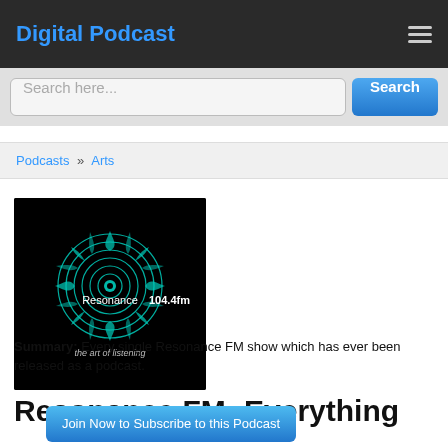Digital Podcast
Search here...
Podcasts » Arts
[Figure (illustration): Resonance 104.4 FM podcast cover art: black background with teal fractal/geometric snowflake pattern, text 'Resonance 104.4fm' and 'the art of listening']
Resonance FM: Everything
Summary: Every single Resonance FM show which has ever been released as a podcast.
Join Now to Subscribe to this Podcast